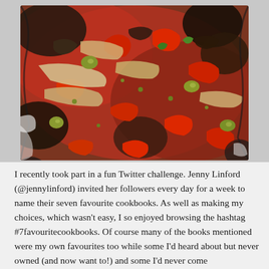[Figure (photo): Close-up photo of a colourful Mediterranean vegetable dish in a decorative black-and-white patterned bowl, featuring red peppers, green olives, capers, aubergine, onions, mushrooms, and fresh herbs in a tomato sauce.]
I recently took part in a fun Twitter challenge. Jenny Linford (@jennylinford) invited her followers every day for a week to name their seven favourite cookbooks. As well as making my choices, which wasn't easy, I so enjoyed browsing the hashtag #7favouritecookbooks. Of course many of the books mentioned were my own favourites too while some I'd heard about but never owned (and now want to!) and some I'd never come